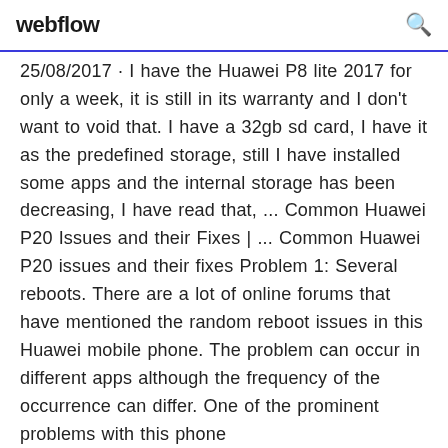webflow
25/08/2017 · I have the Huawei P8 lite 2017 for only a week, it is still in its warranty and I don't want to void that. I have a 32gb sd card, I have it as the predefined storage, still I have installed some apps and the internal storage has been decreasing, I have read that, ... Common Huawei P20 Issues and their Fixes | ... Common Huawei P20 issues and their fixes Problem 1: Several reboots. There are a lot of online forums that have mentioned the random reboot issues in this Huawei mobile phone. The problem can occur in different apps although the frequency of the occurrence can differ. One of the prominent problems with this phone